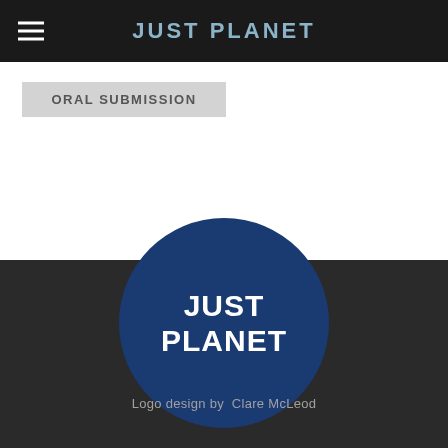JUST PLANET
ORAL SUBMISSION
[Figure (logo): Just Planet logo: dark blue circle with bold white text reading JUST PLANET on two lines]
Logo design by  Clare McLeod